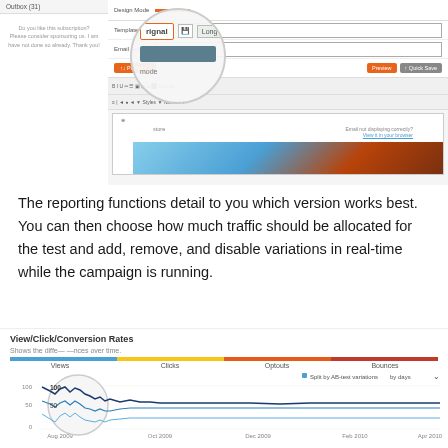[Figure (screenshot): Screenshot of an email marketing platform showing a design mode interface with a magnified circular callout highlighting template fields (showing 'Original' and 'Long Subject' fields with a green plus button), and an editor toolbar with content area showing a blue sky/motorcycle image.]
The reporting functions detail to you which version works best. You can then choose how much traffic should be allocated for the test and add, remove, and disable variations in real-time while the campaign is running.
[Figure (line-chart): Line chart showing View/Click/Conversion Rates over time from Aug 2009 to Apr 2010. Shows the differences over time. Has tabs for Views, Clicks, Optouts, Bounces. Split by AB-test variations by days. Multiple lines (dark blue and light blue/teal) showing rates around 50-100 range early then stabilizing around 50.]